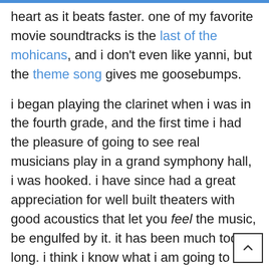heart as it beats faster. one of my favorite movie soundtracks is the last of the mohicans, and i don't even like yanni, but the theme song gives me goosebumps.

i began playing the clarinet when i was in the fourth grade, and the first time i had the pleasure of going to see real musicians play in a grand symphony hall, i was hooked. i have since had a great appreciation for well built theaters with good acoustics that let you feel the music, be engulfed by it. it has been much too long. i think i know what i am going to do this weekend. hello symphony, my dear old friend, i did not realize how much i missed you...